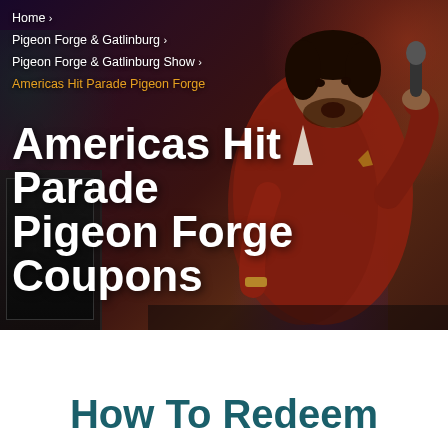Home > Pigeon Forge & Gatlinburg > Pigeon Forge & Gatlinburg Show > Americas Hit Parade Pigeon Forge
[Figure (photo): A male performer in a red/orange blazer singing into a microphone on a stage with dark background and colorful stage lighting]
Americas Hit Parade Pigeon Forge Coupons
How To Redeem